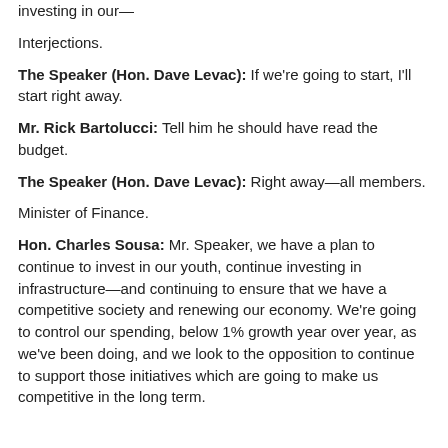investing in our—
Interjections.
The Speaker (Hon. Dave Levac): If we're going to start, I'll start right away.
Mr. Rick Bartolucci: Tell him he should have read the budget.
The Speaker (Hon. Dave Levac): Right away—all members.
Minister of Finance.
Hon. Charles Sousa: Mr. Speaker, we have a plan to continue to invest in our youth, continue investing in infrastructure—and continuing to ensure that we have a competitive society and renewing our economy. We're going to control our spending, below 1% growth year over year, as we've been doing, and we look to the opposition to continue to support those initiatives which are going to make us competitive in the long term.